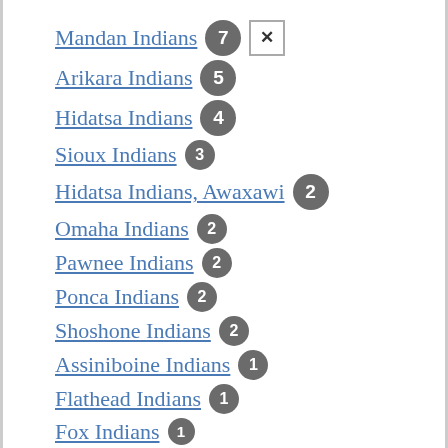Mandan Indians 7
Arikara Indians 5
Hidatsa Indians 4
Sioux Indians 3
Hidatsa Indians, Awaxawi 2
Omaha Indians 2
Pawnee Indians 2
Ponca Indians 2
Shoshone Indians 2
Assiniboine Indians 1
Flathead Indians 1
Fox Indians 1
Iowa Indians 1
Kansa Indians 1
Kickapoo Indians 1
Missouri Indians 1
Osage Indians 1